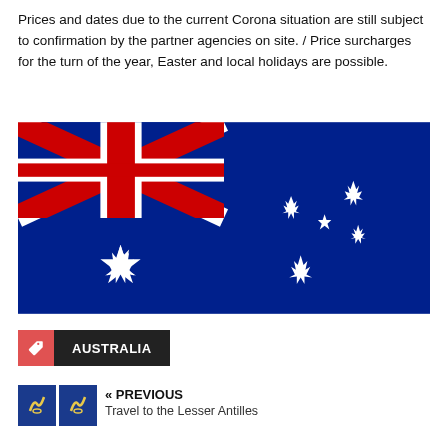Prices and dates due to the current Corona situation are still subject to confirmation by the partner agencies on site. / Price surcharges for the turn of the year, Easter and local holidays are possible.
[Figure (illustration): Australian national flag — blue background with Union Jack in upper left canton, large seven-pointed Commonwealth Star below, and Southern Cross constellation of five white stars on the right.]
AUSTRALIA
« PREVIOUS
Travel to the Lesser Antilles